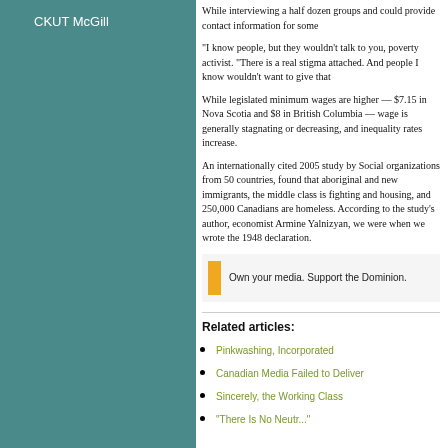CKUT McGill
While interviewing a half dozen groups and could provide contact information for some
"I know people, but they wouldn't talk to you poverty activist. "There is a real stigma att And people I know wouldn't want to give th
While legislated minimum wages are highe $7.15 in Nova Scotia and $8 in British Col wage is generally stagnating or decreasing inequality rates increase.
An internationally cited 2005 study by Soc organizations from 50 countries, found tha and new immigrants, the middle class is fi and housing, and 250,000 Canadians are to the study's author, economist Armine Ya we were when we wrote the 1948 declara
Own your media. Support the Dominion.
Related articles:
Pinkwashing, Incorporated
Canadian Media Failed to Deliver
Sincerely, the Working Class
"There Is No Neutr..."